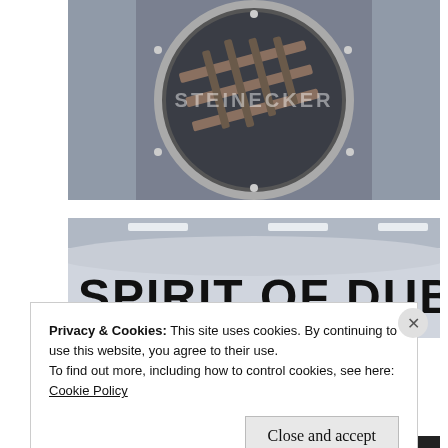[Figure (photo): Industrial machinery inside a circular stainless steel hatch/door with the watermark text 'STEINECKER' visible in the center]
[Figure (photo): Large cylindrical brewing vessel with bold black text reading 'SPIRIT OF DUBLIN' on its side, inside a brewery facility]
Privacy & Cookies: This site uses cookies. By continuing to use this website, you agree to their use.
To find out more, including how to control cookies, see here:
Cookie Policy
Close and accept